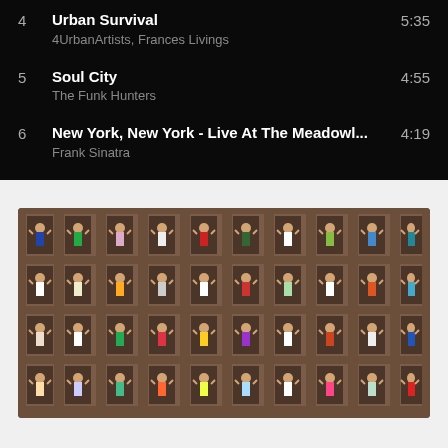4  Urban Survival  5:35
4UrbanArtists, Frances Livings
5  Soul City  4:55
The Funk Hunters
6  New York, New York - Live At The Meadowl...  4:19
Frank Sinatra
[Figure (photo): Photograph of a large multi-story brick building facade with people in colorful dresses posing in each window opening, arms raised. Iconic New York City style building with ornate architecture.]